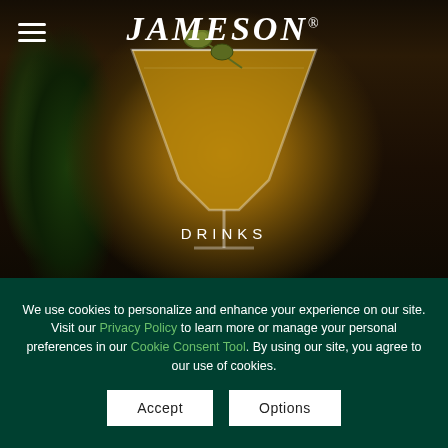[Figure (photo): Jameson whiskey website screenshot showing a cocktail martini glass with an olive garnish on a dark bar background, with Jameson logo at top and hamburger menu icon, and DRINKS label overlaid on the image]
We use cookies to personalize and enhance your experience on our site. Visit our Privacy Policy to learn more or manage your personal preferences in our Cookie Consent Tool. By using our site, you agree to our use of cookies.
Accept
Options